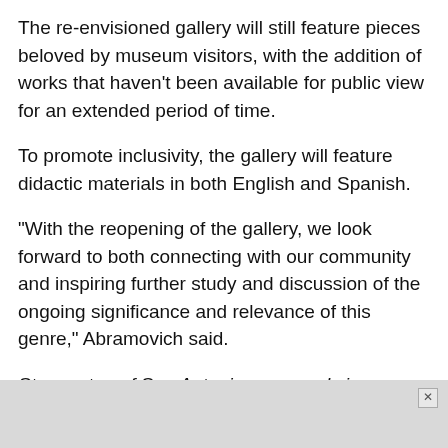The re-envisioned gallery will still feature pieces beloved by museum visitors, with the addition of works that haven't been available for public view for an extended period of time.
To promote inclusivity, the gallery will feature didactic materials in both English and Spanish.
"With the reopening of the gallery, we look forward to both connecting with our community and inspiring further study and discussion of the ongoing significance and relevance of this genre," Abramovich said.
Stay on top of San Antonio news and views. Sign up for our Weekly Headlines Newsletter.
[Figure (other): Gray advertisement placeholder block with an X close button in the top-right corner]